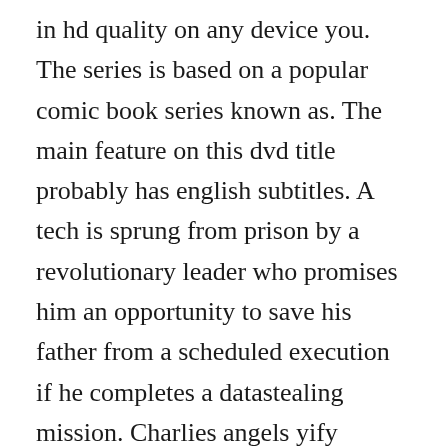in hd quality on any device you. The series is based on a popular comic book series known as. The main feature on this dvd title probably has english subtitles. A tech is sprung from prison by a revolutionary leader who promises him an opportunity to save his father from a scheduled execution if he completes a datastealing mission. Charlies angels yify subtitles download, yts subtitles charlies angels in any format. Young and dangerous reloaded english subtitle download young and dangerous reloaded english subtitle download. A hapless loser assumes the identity of an